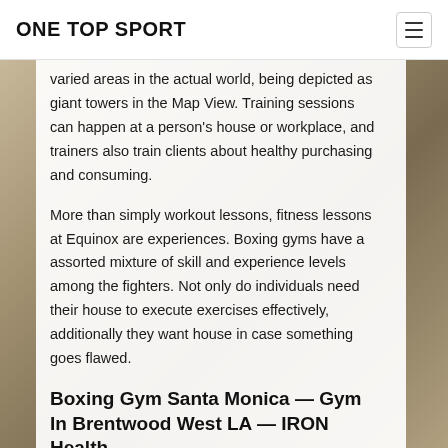ONE TOP SPORT
varied areas in the actual world, being depicted as giant towers in the Map View. Training sessions can happen at a person's house or workplace, and trainers also train clients about healthy purchasing and consuming.
More than simply workout lessons, fitness lessons at Equinox are experiences. Boxing gyms have a assorted mixture of skill and experience levels among the fighters. Not only do individuals need their house to execute exercises effectively, additionally they want house in case something goes flawed.
Boxing Gym Santa Monica — Gym In Brentwood West LA — IRON Health